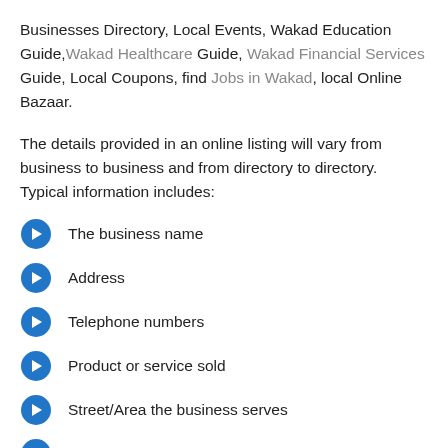Businesses Directory, Local Events, Wakad Education Guide, Wakad Healthcare Guide, Wakad Financial Services Guide, Local Coupons, find Jobs in Wakad, local Online Bazaar.
The details provided in an online listing will vary from business to business and from directory to directory. Typical information includes:
The business name
Address
Telephone numbers
Product or service sold
Street/Area the business serves
Business offered Products & Services